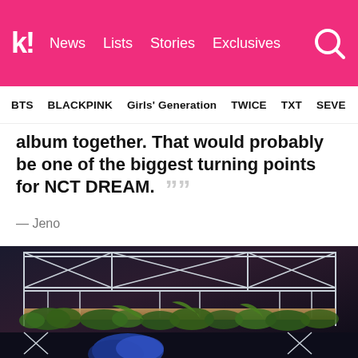k! News  Lists  Stories  Exclusives
BTS  BLACKPINK  Girls' Generation  TWICE  TXT  SEVE
album together. That would probably be one of the biggest turning points for NCT DREAM. ””
— Jeno
[Figure (photo): Concert stage photo with scaffolding structure, plants/greenery, and a performer with blue hair visible at the bottom. Dark background.]